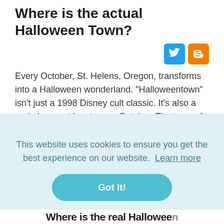Where is the actual Halloween Town?
[Figure (other): Social media share icons: Twitter (blue) and Blogger (orange)]
Every October, St. Helens, Oregon, transforms into a Halloween wonderland. “Halloweentown” isn’t just a 1998 Disney cult classic. It’s also a real place—at least every October. The town of St. Helens, Oregon, where many scenes in “Halloweentown” were shot, transforms itself each year for
This website uses cookies to ensure you get the best experience on our website. Learn more
Got it!
Where is the real Halloween